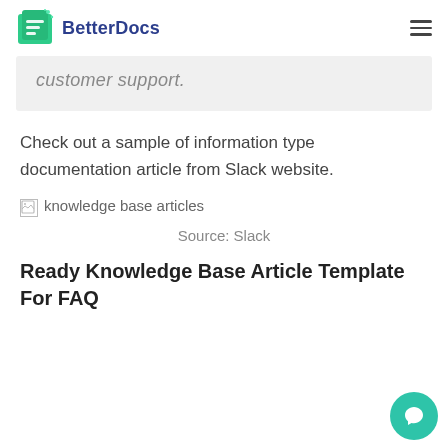BetterDocs
customer support.
Check out a sample of information type documentation article from Slack website.
[Figure (other): Broken image placeholder with alt text: knowledge base articles]
Source: Slack
Ready Knowledge Base Article Template For FAQ